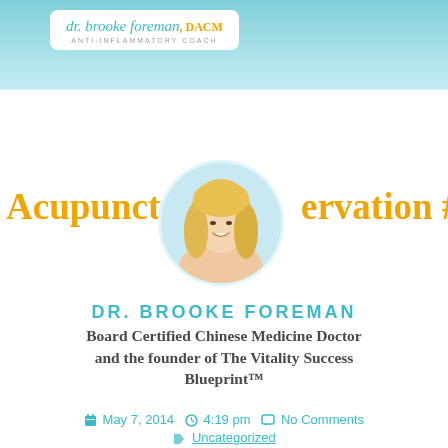dr. brooke foreman, DACM — ANTI-INFLAMMATORY COACH
Acupunctu… …ervation #2
[Figure (photo): Circular profile photo of a smiling blonde woman, Dr. Brooke Foreman]
DR. BROOKE FOREMAN
Board Certified Chinese Medicine Doctor and the founder of The Vitality Success Blueprint™
May 7, 2014  4:19 pm  No Comments
Uncategorized